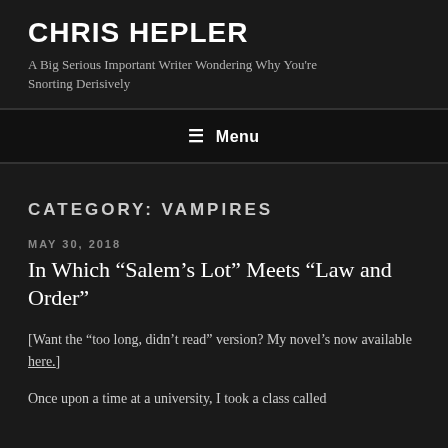CHRIS HEPLER
A Big Serious Important Writer Wondering Why You're Snorting Derisively
≡ Menu
CATEGORY: VAMPIRES
MAY 30, 2018
In Which “Salem’s Lot” Meets “Law and Order”
[Want the “too long, didn’t read” version? My novel’s now available here.]
Once upon a time at a university, I took a class called